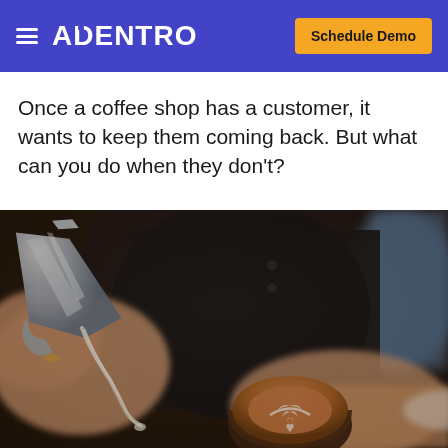ADENTRO | Schedule Demo
Once a coffee shop has a customer, it wants to keep them coming back. But what can you do when they don't?
[Figure (photo): Close-up photo of a barista pouring steamed milk from a stainless steel pitcher into a latte art coffee cup, creating a leaf pattern. The barista wears black clothing and a blue garment is visible in the background.]